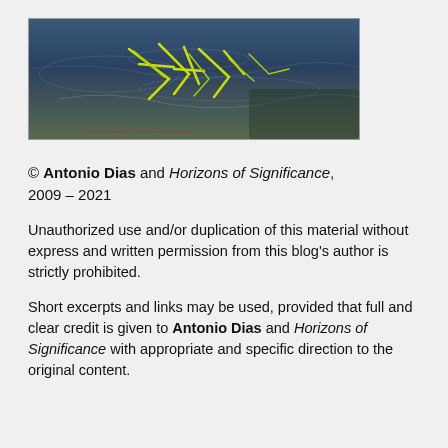[Figure (photo): Banner image showing water surface with yellow/green brushstroke-style calligraphic lines on a blue-grey water texture background. Small red text visible at bottom of image.]
© Antonio Dias and Horizons of Significance, 2009 – 2021
Unauthorized use and/or duplication of this material without express and written permission from this blog's author is strictly prohibited.
Short excerpts and links may be used, provided that full and clear credit is given to Antonio Dias and Horizons of Significance with appropriate and specific direction to the original content.